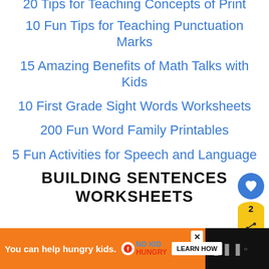20 Tips for Teaching Concepts of Print
10 Fun Tips for Teaching Punctuation Marks
15 Amazing Benefits of Math Talks with Kids
10 First Grade Sight Words Worksheets
200 Fun Word Family Printables
5 Fun Activities for Speech and Language
BUILDING SENTENCES WORKSHEETS
[Figure (screenshot): Ad banner: orange background, 'You can help hungry kids.' with No Kid Hungry logo and LEARN HOW button. Right side shows dark background with stylized W brand mark.]